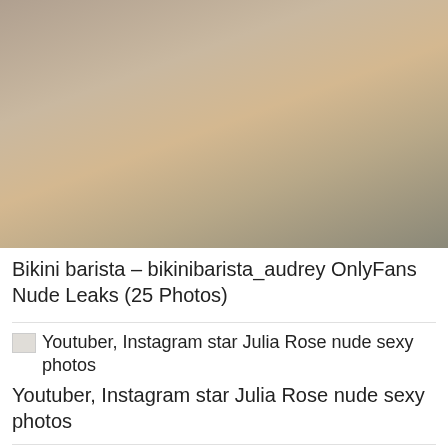[Figure (photo): Close-up photo of a person in black underwear lying on a gray cushioned surface, with a tattoo visible on their stomach area.]
Bikini barista – bikinibarista_audrey OnlyFans Nude Leaks (25 Photos)
[Figure (photo): Small thumbnail image placeholder for Youtuber, Instagram star Julia Rose nude sexy photos]
Youtuber, Instagram star Julia Rose nude sexy photos
[Figure (photo): Small thumbnail image placeholder for Vivi Tarantino – elvlogdevivi OnlyFans Sexy Leaks (25 Photos)]
Vivi Tarantino – elvlogdevivi OnlyFans Sexy Leaks (25 Photos)
Vivi Tarantino – elvlogdevivi OnlyFans Sexy Leaks (25